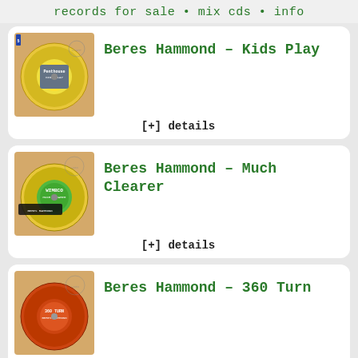records for sale • mix cds • info
Beres Hammond – Kids Play
[+] details
Beres Hammond – Much Clearer
[+] details
Beres Hammond – 360 Turn
[+] details